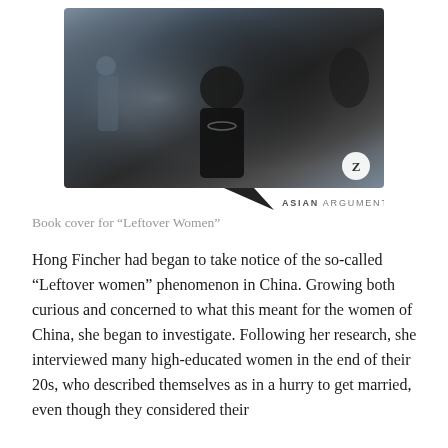[Figure (photo): Photo of a woman with long black hair wearing a black outfit with a beaded necklace, in a blurred indoor/public space. Styled as a book cover with a speech-bubble tail pointing to 'ASIAN ARGUMENTS' branding label. A circular Zed logo appears in the bottom right of the image.]
Book cover for “Leftover Women”
Hong Fincher had began to take notice of the so-called “Leftover women” phenomenon in China. Growing both curious and concerned to what this meant for the women of China, she began to investigate. Following her research, she interviewed many high-educated women in the end of their 20s, who described themselves as in a hurry to get married, even though they considered their